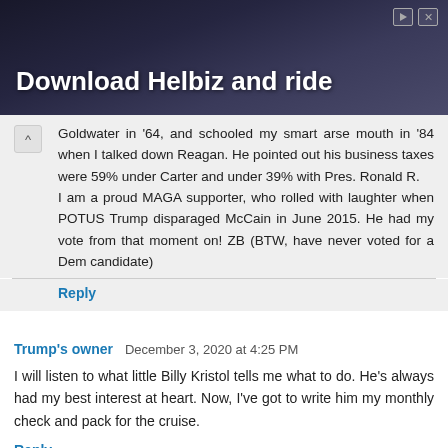[Figure (photo): Advertisement banner with dark background showing a person with a camera. Text reads 'Download Helbiz and ride' in white bold font. Close and play icons in top right corner.]
Goldwater in '64, and schooled my smart arse mouth in '84 when I talked down Reagan. He pointed out his business taxes were 59% under Carter and under 39% with Pres. Ronald R.
I am a proud MAGA supporter, who rolled with laughter when POTUS Trump disparaged McCain in June 2015. He had my vote from that moment on! ZB (BTW, have never voted for a Dem candidate)
Reply
Trump's owner  December 3, 2020 at 4:25 PM
I will listen to what little Billy Kristol tells me what to do. He's always had my best interest at heart. Now, I've got to write him my monthly check and pack for the cruise.
Reply